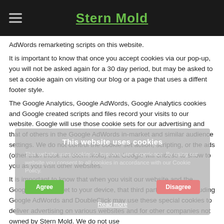Stern Mold
AdWords remarketing scripts on this website.
It is important to know that once you accept cookies via our pop-up, you will not be asked again for a 30 day period, but may be asked to set a cookie again on visiting our blog or a page that uses a diffent footer style.
The Google Analytics, Google AdWords, Google Analytics cookies and Google created scripts and files record your visits to our website. Google will use those cookie sets for our advertising and that of others in the Google AdWords in-market and similar audience settings. We do not control the cookie set action, scripting, or the ads (other than those for Stern Mold) that Google will choose to show to you as you visit other websites.
It is important to know that when you visit our website and the Google cookie is set to your device, that third party vendors including Google AdWords and DoubleClick may use these special cookies to deliver advertising on various websites and for other companies not owned by Stern Mold. We do not use
This website uses cookies
This website uses cookies to improve user experience. By using our website you consent to all cookies in accordance with our Cookie Policy.
[Agree] [Disagree]
Read more